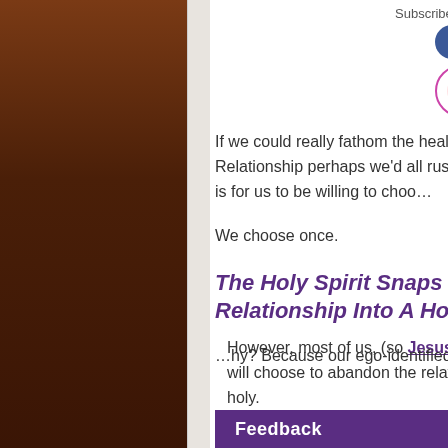Subscribe now to Podcast of Pray
[Figure (infographic): Social media icons: Facebook, Twitter, Instagram, YouTube, LinkedIn circles, then iTunes logo with music note and Stitcher logo with colored squares]
If we could really fathom the healing power of the Holy Relationship perhaps we'd all rush to experience it. All that's required is for us to be willing to choose it.
We choose once.
The Holy Spirit Snaps Into Action Changing The Relationship Into A Holy One.
However, most of us, (so Jesus tells us in A Course In Miracles) will choose to abandon the relationship rather than ride it all the way to holy.
Why? Because our ego-identified self cann
Feedback